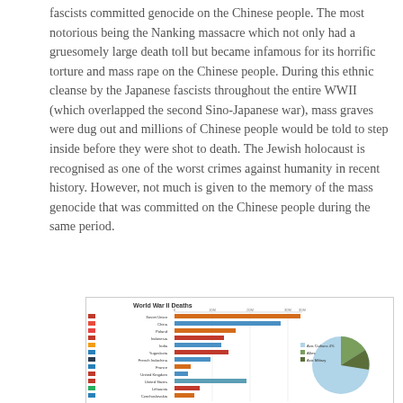fascists committed genocide on the Chinese people. The most notorious being the Nanking massacre which not only had a gruesomely large death toll but became infamous for its horrific torture and mass rape on the Chinese people. During this ethnic cleanse by the Japanese fascists throughout the entire WWII (which overlapped the second Sino-Japanese war), mass graves were dug out and millions of Chinese people would be told to step inside before they were shot to death. The Jewish holocaust is recognised as one of the worst crimes against humanity in recent history. However, not much is given to the memory of the mass genocide that was committed on the Chinese people during the same period.
[Figure (bar-chart): Horizontal bar chart showing WWII deaths by country with a pie chart inset showing breakdown by Axis Military, Axis Civilians, and Allies.]